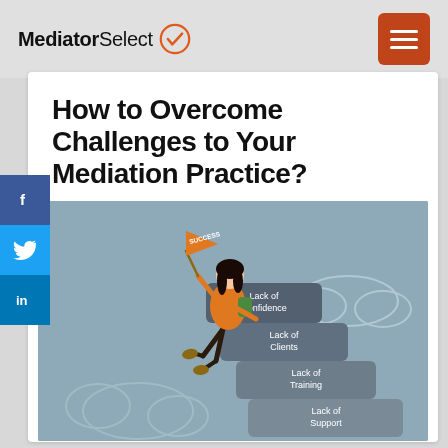MediatorSelect
How to Overcome Challenges to Your Mediation Practice?
[Figure (illustration): Illustration of a woman sitting on stacked stone steps labeled 'Lack of Confidence', 'Lack of Clients', 'Lack of Training', 'Lack of Support', holding an orange pennant flag that says 'SUCCESS'. Cloud shapes in background on a muted blue-grey sky.]